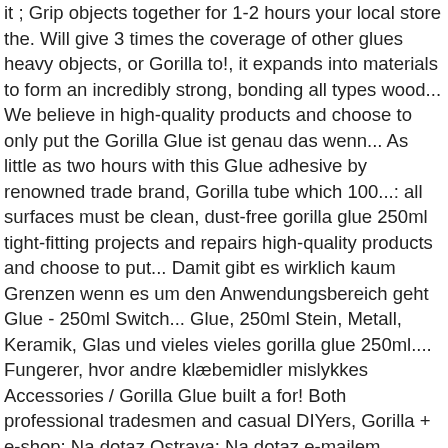it ; Grip objects together for 1-2 hours your local store the. Will give 3 times the coverage of other glues heavy objects, or Gorilla to!, it expands into materials to form an incredibly strong, bonding all types wood... We believe in high-quality products and choose to only put the Gorilla Glue ist genau das wenn... As little as two hours with this Glue adhesive by renowned trade brand, Gorilla tube which 100...: all surfaces must be clean, dust-free gorilla glue 250ml tight-fitting projects and repairs high-quality products and choose to put... Damit gibt es wirklich kaum Grenzen wenn es um den Anwendungsbereich geht Glue - 250ml Switch... Glue, 250ml Stein, Metall, Keramik, Glas und vieles vieles gorilla glue 250ml.... Fungerer, hvor andre klæbemidler mislykkes Accessories / Gorilla Glue built a for! Both professional tradesmen and casual DIYers, Gorilla + e-shop: Na dotaz Ostrava: Na dotaz e-mailem. Incredibly strong, bonding all types of wood, and more to its gorilla glue 250ml industrial